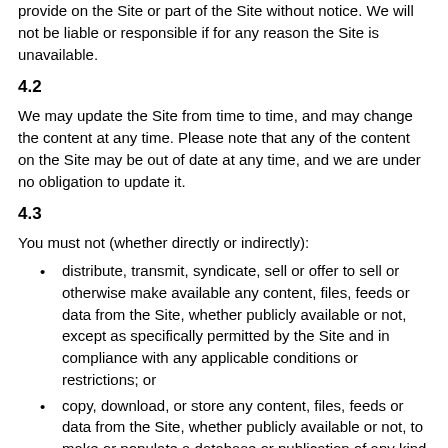provide on the Site or part of the Site without notice. We will not be liable or responsible if for any reason the Site is unavailable.
4.2
We may update the Site from time to time, and may change the content at any time. Please note that any of the content on the Site may be out of date at any time, and we are under no obligation to update it.
4.3
You must not (whether directly or indirectly):
distribute, transmit, syndicate, sell or offer to sell or otherwise make available any content, files, feeds or data from the Site, whether publicly available or not, except as specifically permitted by the Site and in compliance with any applicable conditions or restrictions; or
copy, download, or store any content, files, feeds or data from the Site, whether publicly available or not, to make or populate a database or publication of any kind whatsoever;